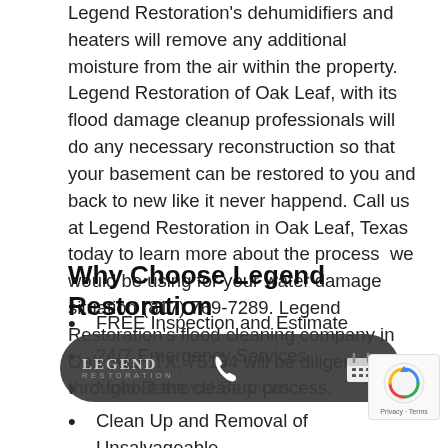Legend Restoration's dehumidifiers and heaters will remove any additional moisture from the air within the property. Legend Restoration of Oak Leaf, with its flood damage cleanup professionals will do any necessary reconstruction so that your basement can be restored to you and back to new like it never happend. Call us at Legend Restoration in Oak Leaf, Texas today to learn more about the process  we would be using for your water damage situation (817) 769-7289. Legend Restoration's flood cleaning company in Oak Leaf, TX, 75154 will be diligent throughout the cleanup process.
Why Choose Legend Restoration
FREE Inspection and Estimate
24/7 Emergency Services
Mold Removal Services
Clean Up and Removal of Unsalvageable Materials
[Figure (logo): Legend Restoration logo and contact overlay bar with phone and calendar icons, plus a reCAPTCHA widget in the corner]